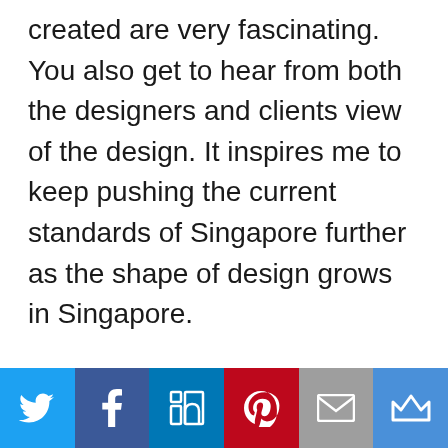created are very fascinating. You also get to hear from both the designers and clients view of the design. It inspires me to keep pushing the current standards of Singapore further as the shape of design grows in Singapore.
[Figure (infographic): Social sharing bar with six buttons: Twitter (light blue), Facebook (dark blue), LinkedIn (blue), Pinterest (red), Email (gray), Bloglovin crown (blue)]